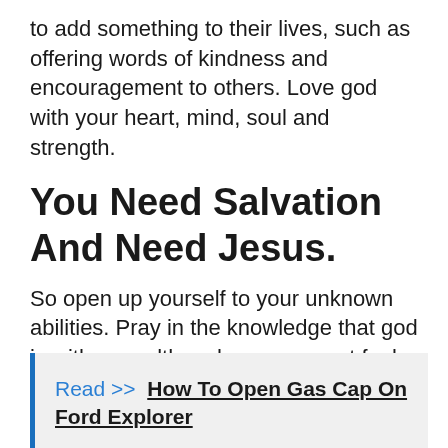to add something to their lives, such as offering words of kindness and encouragement to others. Love god with your heart, mind, soul and strength.
You Need Salvation And Need Jesus.
So open up yourself to your unknown abilities. Pray in the knowledge that god is with you, although you may not feel his presence. Love your neighbour as you love yourself.
Read >>  How To Open Gas Cap On Ford Explorer